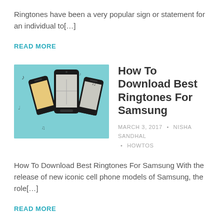Ringtones have been a very popular sign or statement for an individual to[…]
READ MORE
[Figure (photo): Three smartphones with music notes on a teal/mint background, showing ringtones theme]
How To Download Best Ringtones For Samsung
MARCH 3, 2017 • NISHA SANDHAL • HOWTOS
How To Download Best Ringtones For Samsung With the release of new iconic cell phone models of Samsung, the role[…]
READ MORE